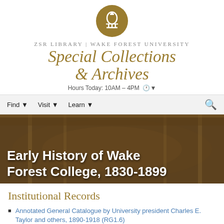[Figure (logo): ZSR Library Wake Forest University Special Collections & Archives logo with golden dome icon]
ZSR LIBRARY | Wake Forest University
Special Collections & Archives
Hours Today: 10AM – 4PM
[Figure (infographic): Navigation bar with Find, Visit, Learn menu items and search icon]
Early History of Wake Forest College, 1830-1899
Institutional Records
Annotated General Catalogue by University president Charles E. Taylor and others, 1890-1918 (RG1.6)
Biblical Recorder digital collection